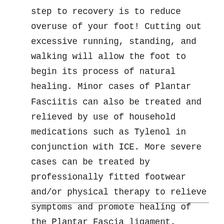step to recovery is to reduce overuse of your foot! Cutting out excessive running, standing, and walking will allow the foot to begin its process of natural healing. Minor cases of Plantar Fasciitis can also be treated and relieved by use of household medications such as Tylenol in conjunction with ICE. More severe cases can be treated by professionally fitted footwear and/or physical therapy to relieve symptoms and promote healing of the Plantar Fascia ligament. Wearing supportive shoes that have good arch support and a slightly raised heel reduces stress on the plantar fascia.